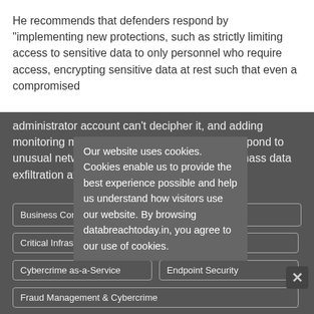He recommends that defenders respond by "implementing new protections, such as strictly limiting access to sensitive data to only personnel who require access, encrypting sensitive data at rest such that even a compromised administrator account can't decipher it, and adding monitoring mechanisms to quickly alert and respond to unusual network volume that could indicate a mass data exfiltration attack".
Our website uses cookies. Cookies enable us to provide the best experience possible and help us understand how visitors use our website. By browsing databreachtoday.in, you agree to our use of cookies.
Business Continuity Management / Disaster Recovery
Critical Infrastructure Security
Cybercrime
Cybercrime as-a-Service
Endpoint Security
Fraud Management & Cybercrime
Governance & Risk Man...